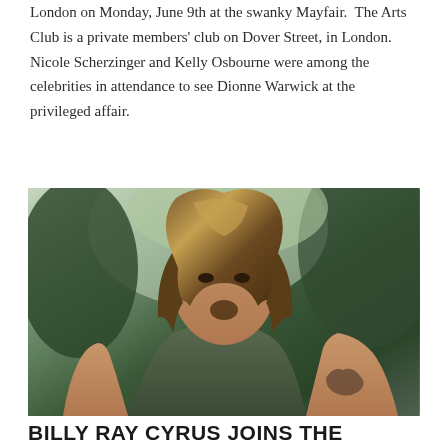London on Monday, June 9th at the swanky Mayfair. The Arts Club is a private members' club on Dover Street, in London. Nicole Scherzinger and Kelly Osbourne were among the celebrities in attendance to see Dionne Warwick at the privileged affair.
[Figure (photo): Portrait photo of a man with long brown highlighted hair wearing a dark olive green t-shirt, with a tattoo visible on his right arm, seated outdoors with trees in the background.]
BILLY RAY CYRUS JOINS THE